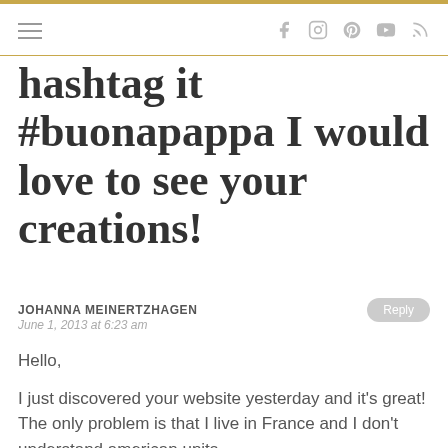Navigation bar with hamburger menu and social icons (Facebook, Instagram, Pinterest, YouTube, RSS)
hashtag it #buonapappa I would love to see your creations!
JOHANNA MEINERTZHAGEN
June 1, 2013 at 6:23 am
Hello,

I just discovered your website yesterday and it’s great! The only problem is that I live in France and I don’t understand american units.